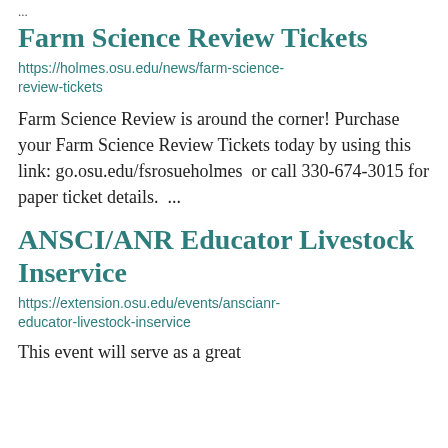...
Farm Science Review Tickets
https://holmes.osu.edu/news/farm-science-review-tickets
Farm Science Review is around the corner! Purchase your Farm Science Review Tickets today by using this link: go.osu.edu/fsrosueholmes  or call 330-674-3015 for paper ticket details.  ...
ANSCI/ANR Educator Livestock Inservice
https://extension.osu.edu/events/anscianr-educator-livestock-inservice
This event will serve as a great